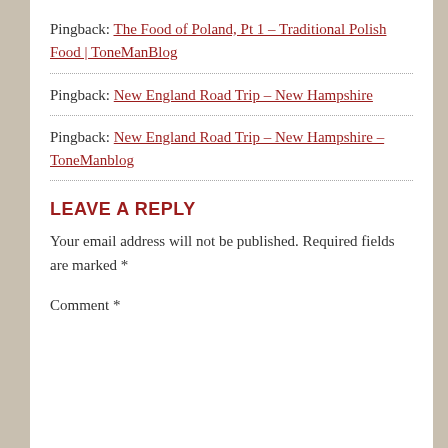Pingback: The Food of Poland, Pt 1 – Traditional Polish Food | ToneManBlog
Pingback: New England Road Trip – New Hampshire
Pingback: New England Road Trip – New Hampshire – ToneManblog
LEAVE A REPLY
Your email address will not be published. Required fields are marked *
Comment *